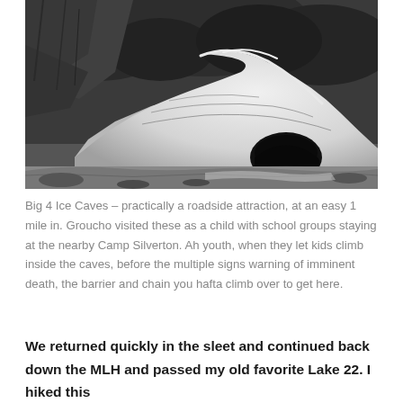[Figure (photo): Black and white photograph of Big 4 Ice Caves showing a large snow/ice formation with a dark cave opening at its base, surrounded by rocky terrain and forested hillside in the background.]
Big 4 Ice Caves – practically a roadside attraction, at an easy 1 mile in. Groucho visited these as a child with school groups staying at the nearby Camp Silverton. Ah youth, when they let kids climb inside the caves, before the multiple signs warning of imminent death, the barrier and chain you hafta climb over to get here.
We returned quickly in the sleet and continued back down the MLH and passed my old favorite Lake 22. I hiked this